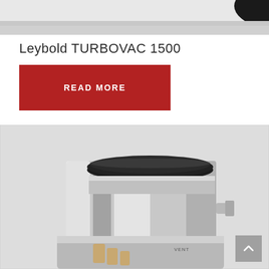[Figure (photo): Partial view of a turbomolecular pump with dark circular top, cropped at top of page]
Leybold TURBOVAC 1500
READ MORE
[Figure (photo): Close-up photograph of Leybold TURBOVAC 1500 turbomolecular vacuum pump showing polished stainless steel cylindrical body with dark circular inlet flange on top and small port fittings at bottom]